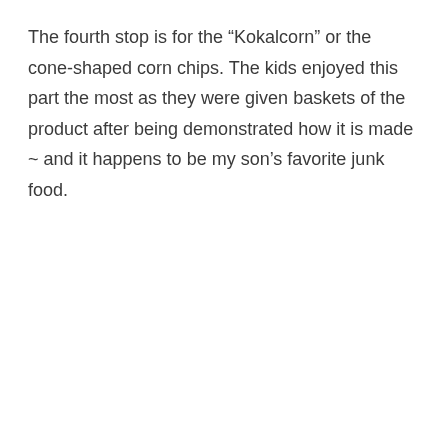The fourth stop is for the “Kokalcorn” or the cone-shaped corn chips. The kids enjoyed this part the most as they were given baskets of the product after being demonstrated how it is made ~ and it happens to be my son’s favorite junk food.